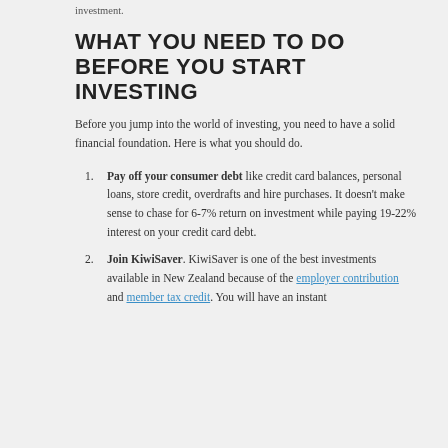investment.
WHAT YOU NEED TO DO BEFORE YOU START INVESTING
Before you jump into the world of investing, you need to have a solid financial foundation. Here is what you should do.
Pay off your consumer debt like credit card balances, personal loans, store credit, overdrafts and hire purchases. It doesn't make sense to chase for 6-7% return on investment while paying 19-22% interest on your credit card debt.
Join KiwiSaver. KiwiSaver is one of the best investments available in New Zealand because of the employer contribution and member tax credit. You will have an instant